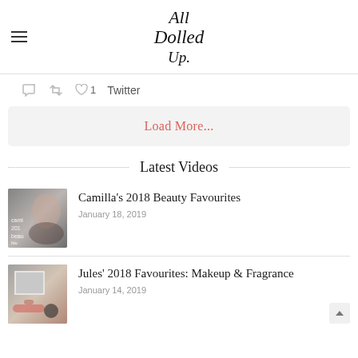All Dolled Up
♡ 1   Twitter
Load More...
Latest Videos
[Figure (photo): Thumbnail image for Camilla's 2018 Beauty Favourites video showing a woman with dark hair]
Camilla's 2018 Beauty Favourites
January 18, 2019
[Figure (photo): Thumbnail image for Jules' 2018 Favourites: Makeup & Fragrance video showing makeup products]
Jules' 2018 Favourites: Makeup & Fragrance
January 14, 2019